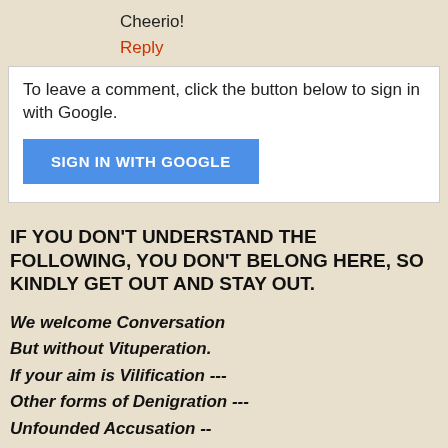Cheerio!
Reply
To leave a comment, click the button below to sign in with Google.
SIGN IN WITH GOOGLE
IF YOU DON'T UNDERSTAND THE FOLLOWING, YOU DON'T BELONG HERE, SO KINDLY GET OUT AND STAY OUT.
We welcome Conversation
But without Vituperation.
If your aim is Vilification ---
Other forms of Denigration ---
Unfounded Accusation --
Determined Obfuscation ---
Alienation with Self-Justification --
We WILL use COMMENT ERADICATION.